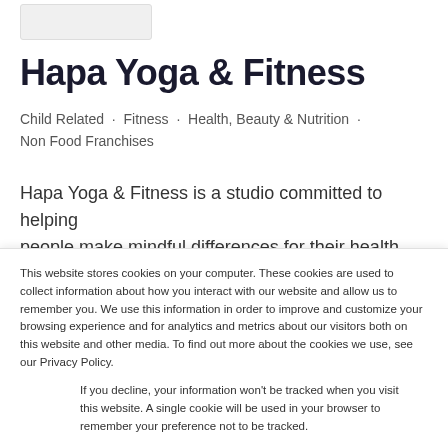[Figure (logo): Logo placeholder box in top left]
Hapa Yoga & Fitness
Child Related · Fitness · Health, Beauty & Nutrition · Non Food Franchises
Hapa Yoga & Fitness is a studio committed to helping people make mindful differences for their health and well
This website stores cookies on your computer. These cookies are used to collect information about how you interact with our website and allow us to remember you. We use this information in order to improve and customize your browsing experience and for analytics and metrics about our visitors both on this website and other media. To find out more about the cookies we use, see our Privacy Policy.
If you decline, your information won't be tracked when you visit this website. A single cookie will be used in your browser to remember your preference not to be tracked.
Accept | Decline